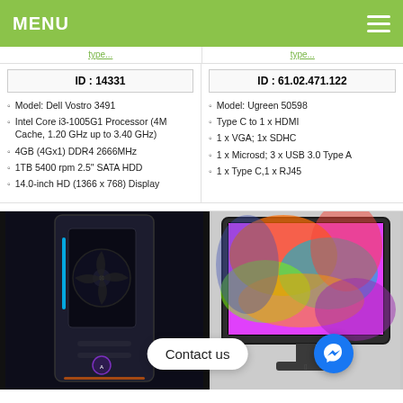MENU
ID : 14331
Model: Dell Vostro 3491
Intel Core i3-1005G1 Processor (4M Cache, 1.20 GHz up to 3.40 GHz)
4GB (4Gx1) DDR4 2666MHz
1TB 5400 rpm 2.5" SATA HDD
14.0-inch HD (1366 x 768) Display
ID : 61.02.471.1222
Model: Ugreen 50598
Type C to 1 x HDMI
1 x VGA; 1x SDHC
1 x Microsd; 3 x USB 3.0 Type A
1 x Type C,1 x RJ45
[Figure (photo): Black gaming PC tower with RGB lighting and side panel window]
[Figure (photo): iMac with colorful abstract wallpaper displayed on screen]
Contact us